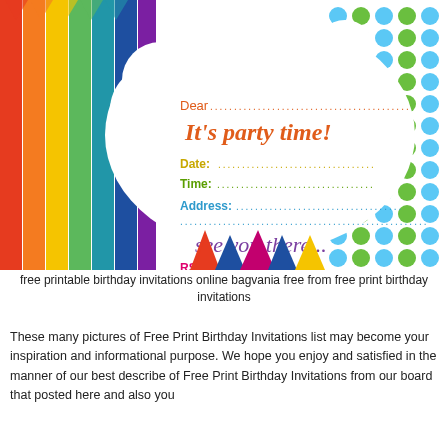[Figure (illustration): Colorful birthday party invitation with rainbow stripes on left, polka dots on right, white cloud bubble in center containing: 'Dear...', 'It's party time!', Date, Time, Address fields, 'see you there...', RSVP field, and party hats along the bottom.]
free printable birthday invitations online bagvania free from free print birthday invitations
These many pictures of Free Print Birthday Invitations list may become your inspiration and informational purpose. We hope you enjoy and satisfied in the manner of our best describe of Free Print Birthday Invitations from our board that posted here and also you